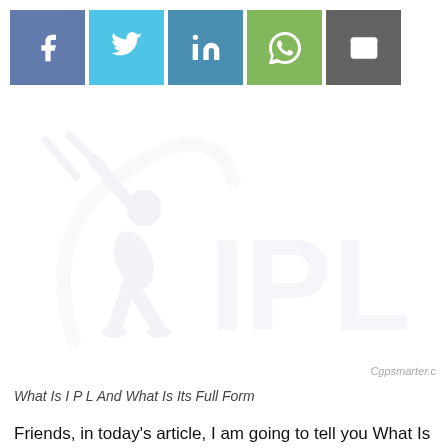[Figure (logo): Row of five social share buttons: Facebook (blue-purple), Twitter (light blue), LinkedIn (steel blue), WhatsApp (green), Email (dark grey)]
[Figure (logo): IPL watermark logo: faint light-blue silhouette of a cricket batsman swinging, with large text 'IPL' to the right, very low opacity watermark style]
What Is I P L And What Is Its Full Form
Friends, in today’s article, I am going to tell you What Is I P L and